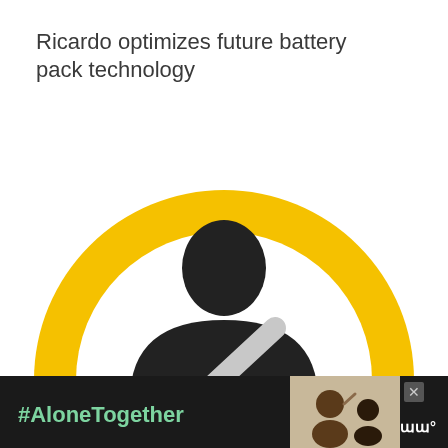Ricardo optimizes future battery pack technology
[Figure (illustration): A person silhouette icon (black figure with circular head) wearing a seatbelt (grey diagonal strap), enclosed in a large yellow circle ring, on a white background. The circle is cut off at the bottom of the image.]
[Figure (photo): Advertisement banner at the bottom: dark background with '#AloneTogether' in green text on the left, a photo of a man and child waving at a screen in the center, a close button (x) and a logo on the right.]